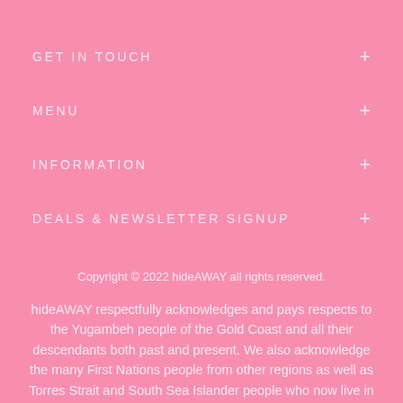GET IN TOUCH
MENU
INFORMATION
DEALS & NEWSLETTER SIGNUP
Copyright © 2022 hideAWAY all rights reserved.
hideAWAY respectfully acknowledges and pays respects to the Yugambeh people of the Gold Coast and all their descendants both past and present. We also acknowledge the many First Nations people from other regions as well as Torres Strait and South Sea Islander people who now live in the local area and